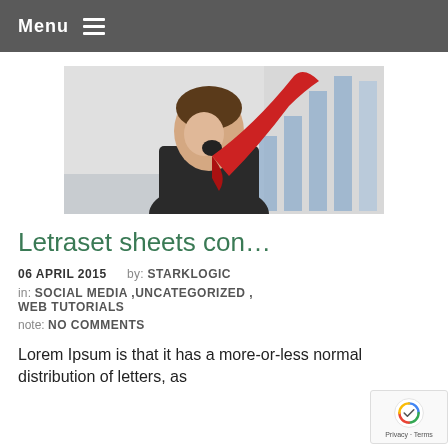Menu
[Figure (photo): Man in suit with surprised expression, red tie flying up, bar chart in background]
Letraset sheets con…
06 APRIL 2015   by: STARKLOGIC
in: SOCIAL MEDIA ,UNCATEGORIZED , WEB TUTORIALS
note: NO COMMENTS
Lorem Ipsum is that it has a more-or-less normal distribution of letters, as